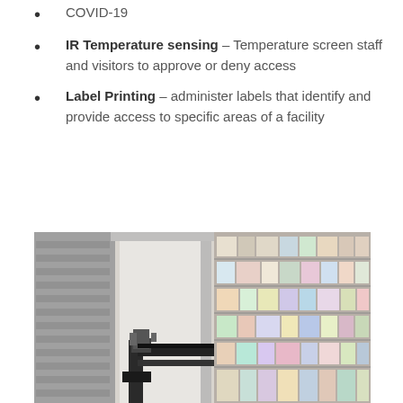COVID-19
IR Temperature sensing – Temperature screen staff and visitors to approve or deny access
Label Printing – administer labels that identify and provide access to specific areas of a facility
[Figure (photo): Automated robotic arm system in a pharmacy or warehouse, retrieving items from shelves stocked with colorful boxes and packages]